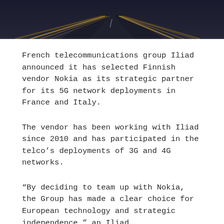[Figure (photo): Hero image showing a highway or road with motion blur and yellow light streaks, dark overlay, photographed from a low angle looking forward]
French telecommunications group Iliad announced it has selected Finnish vendor Nokia as its strategic partner for its 5G network deployments in France and Italy.
The vendor has been working with Iliad since 2010 and has participated in the telco’s deployments of 3G and 4G networks.
“By deciding to team up with Nokia, the Group has made a clear choice for European technology and strategic independence,” an Iliad